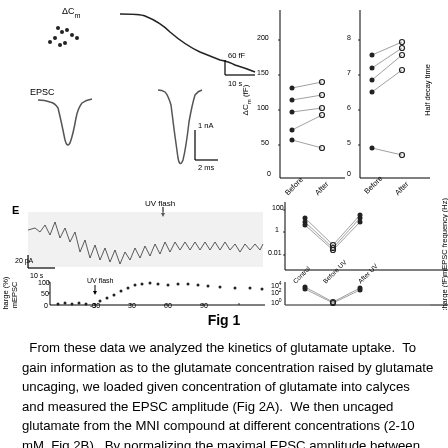[Figure (continuous-plot): Multi-panel scientific figure showing electrophysiology and calcium imaging data. Top row (D panels): left shows ΔCm and EPSC traces with 60fF/10s and 1nA/2ms scale bars; center-right shows paired scatter plots of ΔCm (fF) Before vs After and Half decay time before vs After. Bottom row (E panels): left top shows mEPSC current trace with UV flash arrow and 20pA/10s scale bar; left bottom shows mEPSC charge (%) vs Time (s) plot from -30 to 90s with UV flash arrow at 0; right shows two log-scale paired plots: mEPSC frequency (Hz) and charge (fF) for Control, Before UV, After UV conditions.]
Fig 1
From these data we analyzed the kinetics of glutamate uptake.  To gain information as to the glutamate concentration raised by glutamate uncaging, we loaded given concentration of glutamate into calyces and measured the EPSC amplitude (Fig 2A).  We then uncaged glutamate from the MNI compound at different concentrations (2-10 mM, Fig 2B).  By normalizing the maximal EPSC amplitude between glutamate loading and MNI glutamate uncaging, we obtained the relationship between